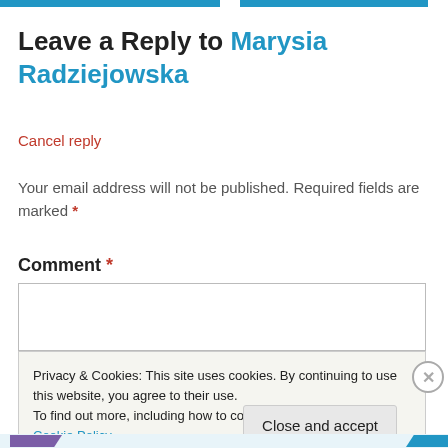Leave a Reply to Marysia Radziejowska
Cancel reply
Your email address will not be published. Required fields are marked *
Comment *
Privacy & Cookies: This site uses cookies. By continuing to use this website, you agree to their use.
To find out more, including how to control cookies, see here: Cookie Policy
Close and accept